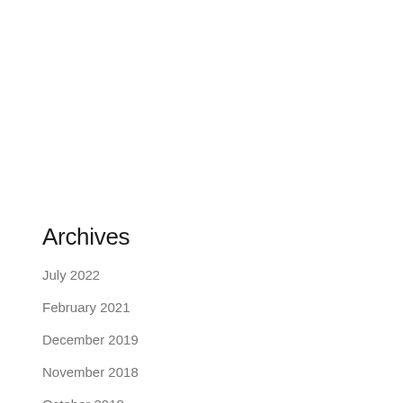Archives
July 2022
February 2021
December 2019
November 2018
October 2018
September 2018